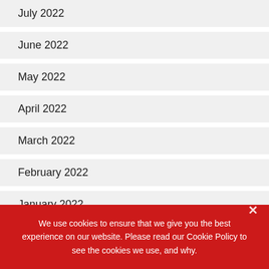July 2022
June 2022
May 2022
April 2022
March 2022
February 2022
January 2022
December 2021
We use cookies to ensure that we give you the best experience on our website. Please read our Cookie Policy to see the cookies we use, and why.